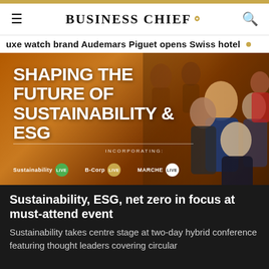BUSINESS CHIEF.
Luxe watch brand Audemars Piguet opens Swiss hotel •
[Figure (photo): Promotional banner for 'Shaping the Future of Sustainability & ESG' event incorporating Sustainability LIVE, B-Corp LIVE, and MARCHE LIVE, with group of business people in the background on an orange-toned background.]
Sustainability, ESG, net zero in focus at must-attend event
Sustainability takes centre stage at two-day hybrid conference featuring thought leaders covering circular